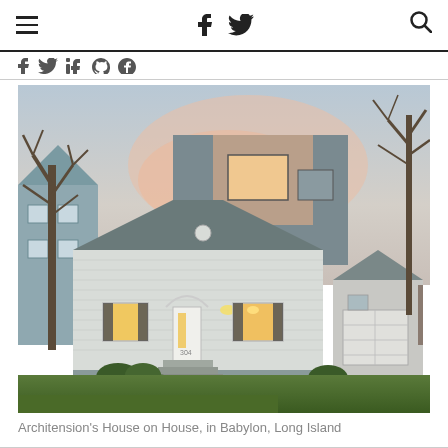hamburger menu | f (facebook) | twitter bird | search icon
[Figure (photo): Exterior photograph of Architension's House on House project in Babylon, Long Island. A traditional white clapboard cape-style house with a modern gray boxy addition rising above and behind it. Warm interior lights glow through the windows at dusk. Bare trees flank the house, with neighboring homes and a detached garage visible.]
Architension's House on House, in Babylon, Long Island